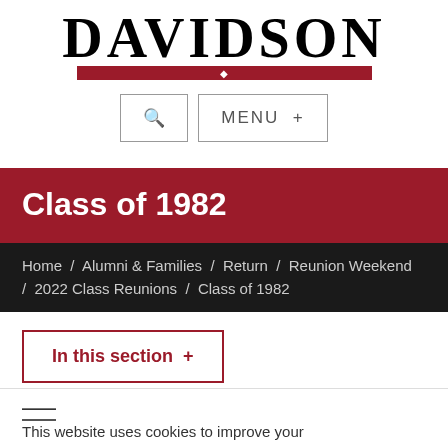[Figure (logo): Davidson College logo — large serif text 'DAVIDSON' with a red horizontal bar and white diamond in the center below the text]
[Figure (screenshot): Navigation buttons: a search icon button and a MENU + button, both outlined with grey borders]
Class of 1982
Home / Alumni & Families / Return / Reunion Weekend / 2022 Class Reunions / Class of 1982
In this section +
This website uses cookies to improve your